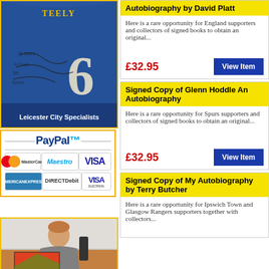[Figure (photo): Leicester City football shirt with number 6, signed, with 'Leicester City Specialists' label]
[Figure (logo): PayPal payment options logo with MasterCard, Maestro, VISA, American Express, Direct Debit, VISA Electron cards]
[Figure (photo): Person sitting at a desk holding a football poster/picture]
Autobiography by David Platt
Here is a rare opportunity for England supporters and collectors of signed books to obtain an original...
£32.95
Signed Copy of Glenn Hoddle An Autobiography
Here is a rare opportunity for Spurs supporters and collectors of signed books to obtain an original...
£32.95
Signed Copy of My Autobiography by Terry Butcher
Here is a rare opportunity for Ipswich Town and Glasgow Rangers supporters together with collectors...
McGr...
Here is a together...
£39
Signe... Mana...
Here is a collectors...
£32
Signe... by Ke...
Here is a with col...